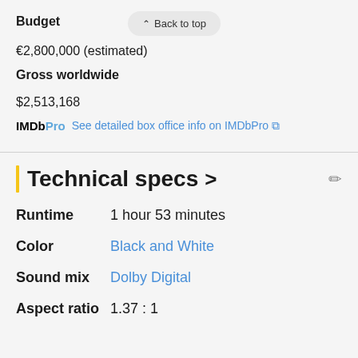Budget
€2,800,000 (estimated)
Gross worldwide
$2,513,168
IMDbPro  See detailed box office info on IMDbPro ↗
Technical specs >
Runtime  1 hour 53 minutes
Color  Black and White
Sound mix  Dolby Digital
Aspect ratio  1.37 : 1